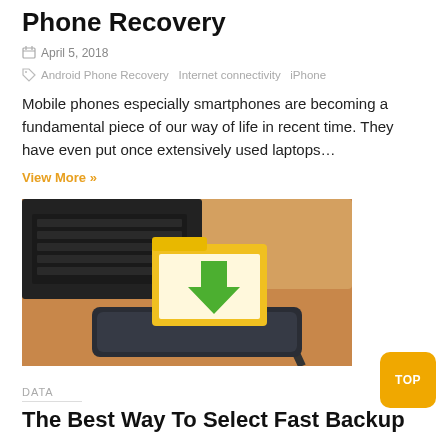Phone Recovery
April 5, 2018
Android Phone Recovery  Internet connectivity  iPhone
Mobile phones especially smartphones are becoming a fundamental piece of our way of life in recent time. They have even put once extensively used laptops…
View More »
[Figure (photo): A yellow folder with a green download arrow icon sitting on a black external hard drive, with a laptop keyboard visible in the background on a wooden surface.]
DATA
The Best Way To Select Fast Backup